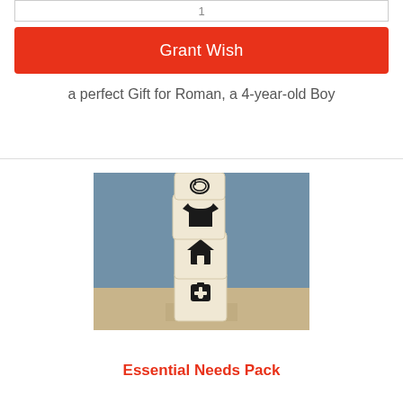1
Grant Wish
a perfect Gift for Roman, a 4-year-old Boy
[Figure (photo): Stacked wooden blocks with icons representing food (plate and cutlery), clothing (t-shirt), home (house), and medical (first aid kit), photographed against a blue background on a wooden surface.]
Essential Needs Pack